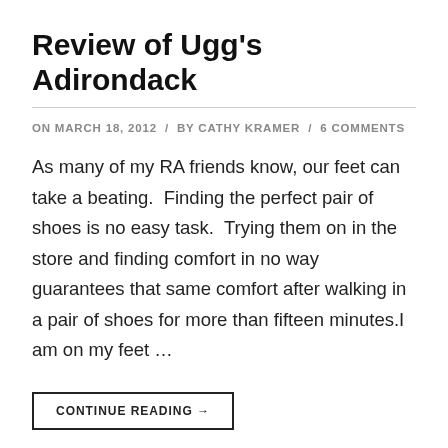Review of Ugg's Adirondack
ON MARCH 18, 2012 / BY CATHY KRAMER / 6 COMMENTS
As many of my RA friends know, our feet can take a beating.  Finding the perfect pair of shoes is no easy task.  Trying them on in the store and finding comfort in no way guarantees that same comfort after walking in a pair of shoes for more than fifteen minutes.I am on my feet ...
CONTINUE READING →